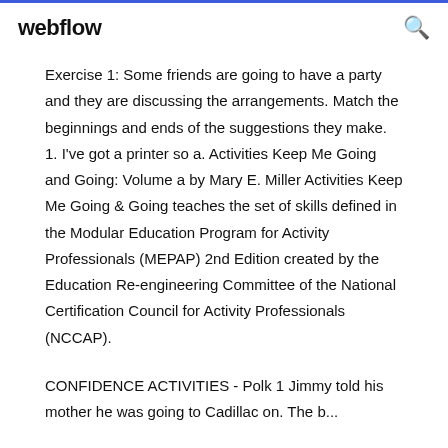webflow
Exercise 1: Some friends are going to have a party and they are discussing the arrangements. Match the beginnings and ends of the suggestions they make. 1. I've got a printer so a. Activities Keep Me Going and Going: Volume a by Mary E. Miller Activities Keep Me Going & Going teaches the set of skills defined in the Modular Education Program for Activity Professionals (MEPAP) 2nd Edition created by the Education Re-engineering Committee of the National Certification Council for Activity Professionals (NCCAP).
CONFIDENCE ACTIVITIES - Polk 1 Jimmy told his mother he was going to...